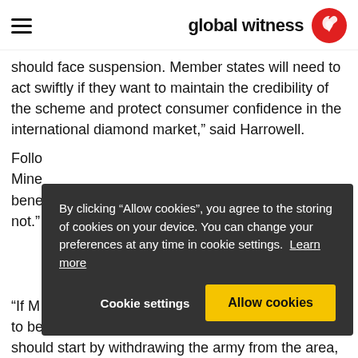global witness
should face suspension. Member states will need to act swiftly if they want to maintain the credibility of the scheme and protect consumer confidence in the international diamond market," said Harrowell.
Follo... Mine... bene... not."
[Figure (screenshot): Cookie consent overlay with dark background. Text reads: By clicking "Allow cookies", you agree to the storing of cookies on your device. You can change your preferences at any time in cookie settings. Learn more. Buttons: Cookie settings | Allow cookies]
"If M... to be... should start by withdrawing the army from the area,